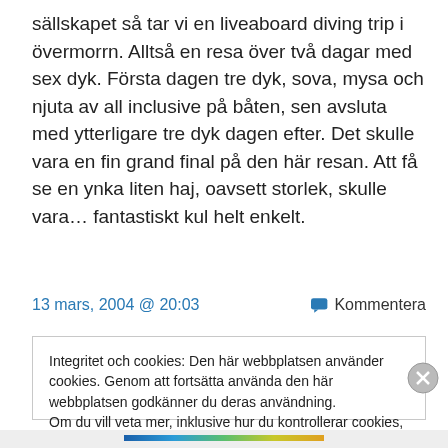sällskapet så tar vi en liveaboard diving trip i övermorrn. Alltså en resa över två dagar med sex dyk. Första dagen tre dyk, sova, mysa och njuta av all inclusive på båten, sen avsluta med ytterligare tre dyk dagen efter. Det skulle vara en fin grand final på den här resan. Att få se en ynka liten haj, oavsett storlek, skulle vara… fantastiskt kul helt enkelt.
13 mars, 2004 @ 20:03
Kommentera
Integritet och cookies: Den här webbplatsen använder cookies. Genom att fortsätta använda den här webbplatsen godkänner du deras användning.
Om du vill veta mer, inklusive hur du kontrollerar cookies, se: Cookie-policy
Stäng och acceptera